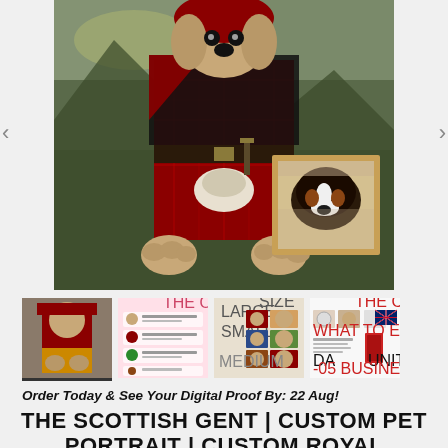[Figure (illustration): Main product image showing a custom royal pet portrait of a dog dressed as a Scottish Gent in a red tartan kilt, with a reference photo of a Bernese Mountain dog inset in the bottom right corner]
[Figure (illustration): Thumbnail row showing 4 smaller product images: (1) dog in Roman soldier costume, (2) product options/features list with pink background, (3) size/style options grid, (4) canvas and shipping info with UK flag]
Order Today & See Your Digital Proof By: 22 Aug!
THE SCOTTISH GENT | CUSTOM PET PORTRAIT | CUSTOM ROYAL PORTRAITS